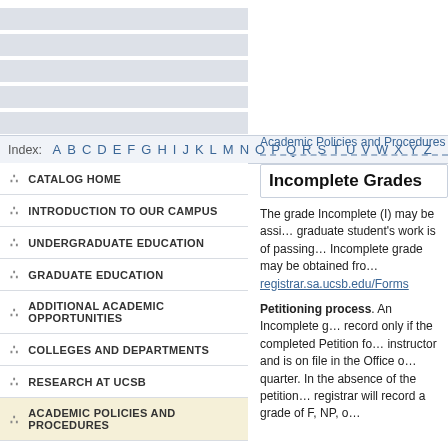Index: A B C D E F G H I J K L M N O P Q R S T U V W X Y Z
CATALOG HOME
INTRODUCTION TO OUR CAMPUS
UNDERGRADUATE EDUCATION
GRADUATE EDUCATION
ADDITIONAL ACADEMIC OPPORTUNITIES
COLLEGES AND DEPARTMENTS
RESEARCH AT UCSB
ACADEMIC POLICIES AND PROCEDURES
Enrollment
Examinations
Units of Credit
Grading System
Academic Policies and Procedures > Gr…
Incomplete Grades
The grade Incomplete (I) may be assigned when a graduate student's work is of passing quality but is incomplete. An Incomplete grade may be obtained from registrar.sa.ucsb.edu/Forms
Petitioning process. An Incomplete grade goes on record only if the completed Petition for an I grade, signed by the instructor and is on file in the Office of the Registrar at the end of the quarter. In the absence of the petition form, the registrar will record a grade of F, NP, or…